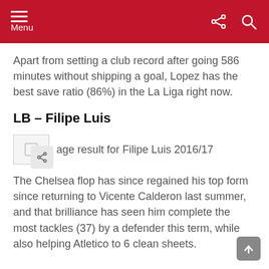Menu
Apart from setting a club record after going 586 minutes without shipping a goal, Lopez has the best save ratio (86%) in the La Liga right now.
LB – Filipe Luis
[Figure (photo): Image result for Filipe Luis 2016/17]
The Chelsea flop has since regained his top form since returning to Vicente Calderon last summer, and that brilliance has seen him complete the most tackles (37) by a defender this term, while also helping Atletico to 6 clean sheets.